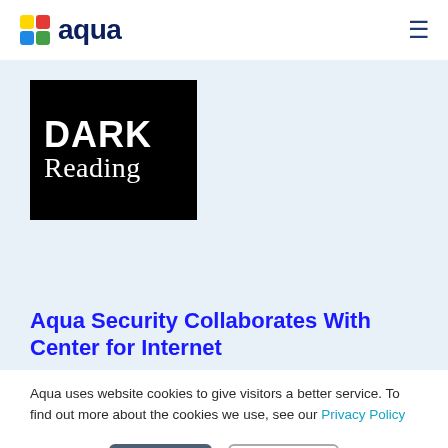aqua
[Figure (logo): Dark Reading logo — white text 'DARK Reading' on black background]
Aqua Security Collaborates With Center for Internet
Aqua uses website cookies to give visitors a better service. To find out more about the cookies we use, see our Privacy Policy
Accept  Decline